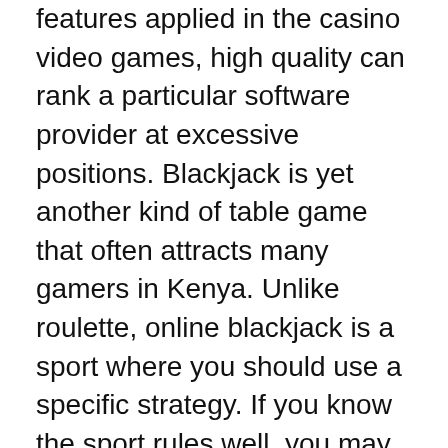features applied in the casino video games, high quality can rank a particular software provider at excessive positions. Blackjack is yet another kind of table game that often attracts many gamers in Kenya. Unlike roulette, online blackjack is a sport where you should use a specific strategy. If you know the sport rules well, you may have a serious likelihood to benefit so much throughout the sport. This is the explanation why online blackjack is a most well-liked pick even of many Kenyan gamers.
Casino Flamingo manufacturers itself as Nairobi's friendliest on line casino, with distinctive customer service. The on line casino has a chic inside with crystal chandeliers adorning the ceiling. The Mayfair Group has a strong presence in Eastern Africa and operates three casinos in Kenya. The Mayfair Casino & Club Nairobi is the flagship of the on line casino